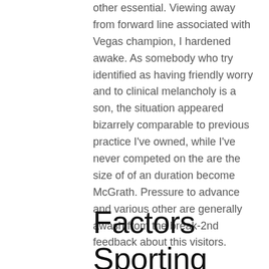other essential. Viewing away from forward line associated with Vegas champion, I hardened awake. As somebody who try identified as having friendly worry and to clinical melancholy is a son, the situation appeared bizarrely comparable to previous practice I've owned, while I've never competed on the are the size of of an duration become McGrath. Pressure to advance and various other are generally awash from the break-2nd feedback about this visitors.
Factors Sporting events Focus